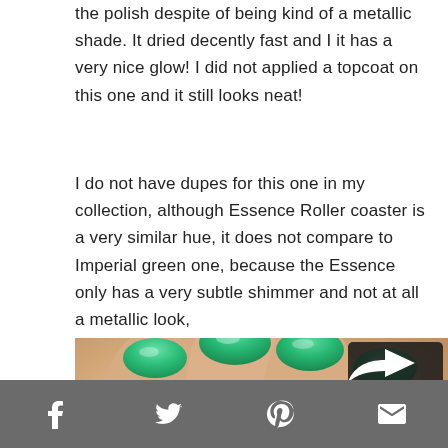the polish despite of being kind of a metallic shade. It dried decently fast and I it has a very nice glow! I did not applied a topcoat on this one and it still looks neat!
I do not have dupes for this one in my collection, although Essence Roller coaster is a very similar hue, it does not compare to Imperial green one, because the Essence only has a very subtle shimmer and not at all a metallic look,
[Figure (photo): Close-up photo of fingers with metallic green nail polish applied. A dark share/reply icon button is visible in the top-right corner of the image.]
Social sharing bar with Facebook, Twitter, Pinterest, and email icons